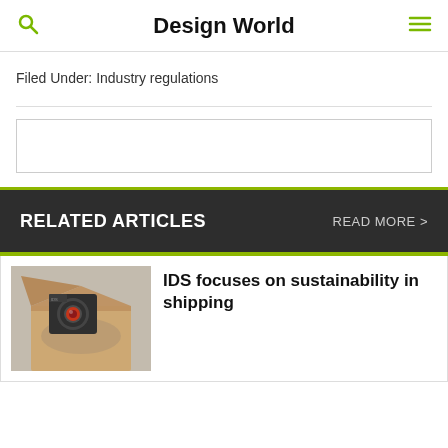Design World
Filed Under: Industry regulations
RELATED ARTICLES   READ MORE >
[Figure (photo): Camera or industrial machine component in an open cardboard shipping box with brown paper packing material]
IDS focuses on sustainability in shipping